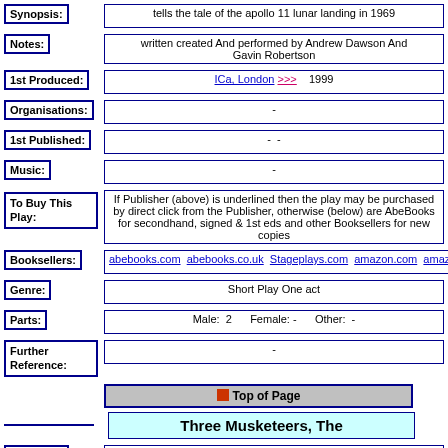| Field | Value |
| --- | --- |
| Synopsis: | tells the tale of the apollo 11 lunar landing in 1969 |
| Notes: | written created And performed by Andrew Dawson And Gavin Robertson |
| 1st Produced: | ICa, London >>> 1999 |
| Organisations: | - |
| 1st Published: | - - |
| Music: | - |
| To Buy This Play: | If Publisher (above) is underlined then the play may be purchased by direct click from the Publisher, otherwise (below) are AbeBooks for secondhand, signed & 1st eds and other Booksellers for new copies |
| Booksellers: | abebooks.com abebooks.co.uk Stageplays.com amazon.com amazon.co.uk a... |
| Genre: | Short Play One act |
| Parts: | Male: 2   Female: -   Other: - |
| Further Reference: | - |
Top of Page
Three Musketeers, The
| Field | Value |
| --- | --- |
| Synopsis: | - |
| Notes: | written By Andrew Dawson, Gavin Robertson, Robert Thirtle |
| 1st Produced: | Purcell Room, London  1992 |